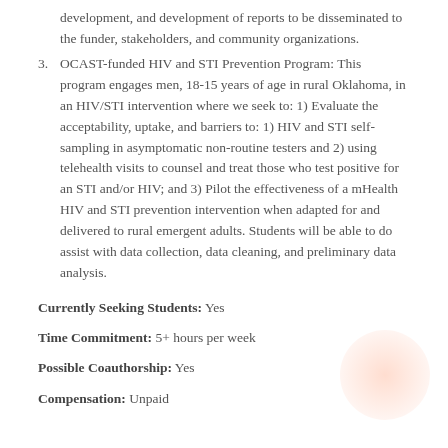development, and development of reports to be disseminated to the funder, stakeholders, and community organizations.
3. OCAST-funded HIV and STI Prevention Program: This program engages men, 18-15 years of age in rural Oklahoma, in an HIV/STI intervention where we seek to: 1) Evaluate the acceptability, uptake, and barriers to: 1) HIV and STI self-sampling in asymptomatic non-routine testers and 2) using telehealth visits to counsel and treat those who test positive for an STI and/or HIV; and 3) Pilot the effectiveness of a mHealth HIV and STI prevention intervention when adapted for and delivered to rural emergent adults. Students will be able to do assist with data collection, data cleaning, and preliminary data analysis.
Currently Seeking Students: Yes
Time Commitment: 5+ hours per week
Possible Coauthorship: Yes
Compensation: Unpaid